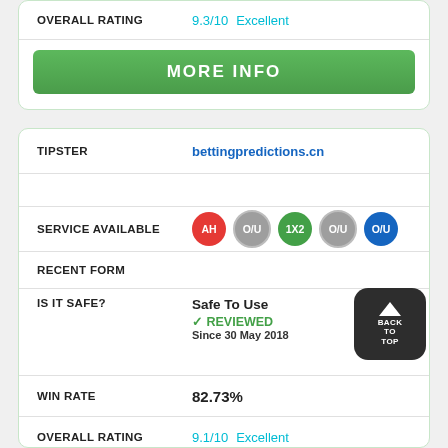OVERALL RATING  9.3/10  Excellent
MORE INFO
TIPSTER  bettingpredictions.cn
SERVICE AVAILABLE  AH  O/U  1X2  O/U  O/U
RECENT FORM
IS IT SAFE?  Safe To Use  ✓ REVIEWED  Since 30 May 2018
WIN RATE  82.73%
OVERALL RATING  9.1/10  Excellent
MORE INFO